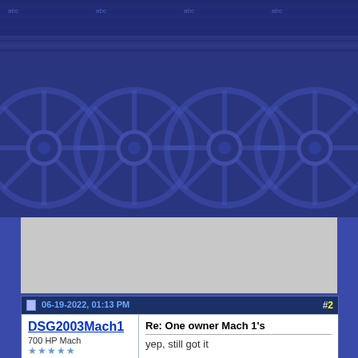[Figure (illustration): Forum website header background with repeating blue-tinted car wheel/rim pattern and forum banner graphics tiled across the top portion of the page]
[Figure (other): Gray rectangular advertisement or placeholder content area]
06-19-2022, 01:13 PM
#2
DSG2003Mach1
700 HP Mach
Re: One owner Mach 1's
yep, still got it